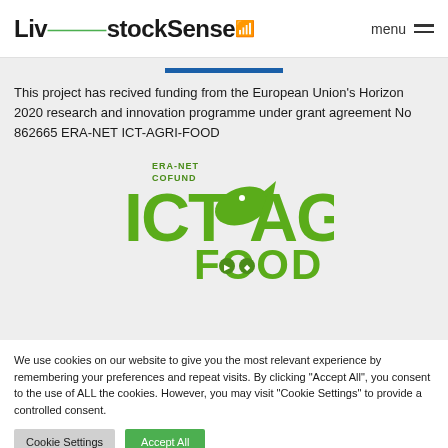LivestockSense menu
[Figure (logo): ICT-AGRI-FOOD ERA-NET COFUND logo in green]
This project has recived funding from the European Union's Horizon 2020 research and innovation programme under grant agreement No 862665 ERA-NET ICT-AGRI-FOOD
We use cookies on our website to give you the most relevant experience by remembering your preferences and repeat visits. By clicking "Accept All", you consent to the use of ALL the cookies. However, you may visit "Cookie Settings" to provide a controlled consent.
Cookie Settings | Accept All